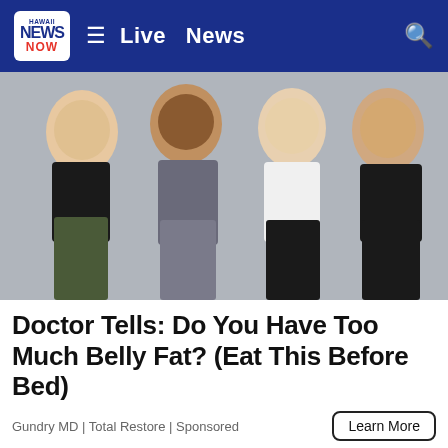Hawaii News Now — Live News
[Figure (photo): Four women smiling in athletic/fitness wear, arms around each other, gym setting]
Doctor Tells: Do You Have Too Much Belly Fat? (Eat This Before Bed)
Gundry MD | Total Restore | Sponsored
[Figure (photo): Close-up skin/scalp images showing skin condition, split into two panels]
[Figure (infographic): Advertisement banner: FREE HOME & OFFICE DELIVERY! New customers get FREE WATER at Set Up. Ultra-Pure, Alkaline & Distilled. Menehune Water Co. ORDER TODAY!]